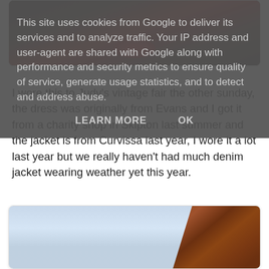[Figure (photo): Partially visible photo of red shoes on dark floor, shown inside a rounded card]
This site uses cookies from Google to deliver its services and to analyze traffic. Your IP address and user-agent are shared with Google along with performance and security metrics to ensure quality of service, generate usage statistics, and to detect and address abuse.
LEARN MORE    OK
I wore this to Judy's vintage fair the other sunday, the dress was originally from Evans and I got it from a charity shop in Skipton last summer and the jacket is from Curvissa last year, I wore it a lot last year but we really haven't had much denim jacket wearing weather yet this year.
[Figure (photo): Partially visible photo showing a blue sky background with a dark reddish-brown wooden structure visible at the upper right, inside a rounded card]